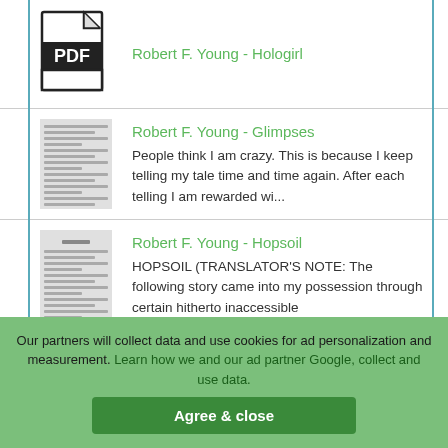[Figure (screenshot): Blurred thumbnail of a document page]
Robert F. Young - Hologirl
[Figure (screenshot): Blurred thumbnail of a document page]
Robert F. Young - Glimpses
People think I am crazy. This is because I keep telling my tale time and time again. After each telling I am rewarded wi...
[Figure (screenshot): Blurred thumbnail of a document page with dash mark]
Robert F. Young - Hopsoil
HOPSOIL (TRANSLATOR'S NOTE: The following story came into my possession through certain hitherto inaccessible
Our partners will collect data and use cookies for ad personalization and measurement. Learn how we and our ad partner Google, collect and use data.
Agree & close